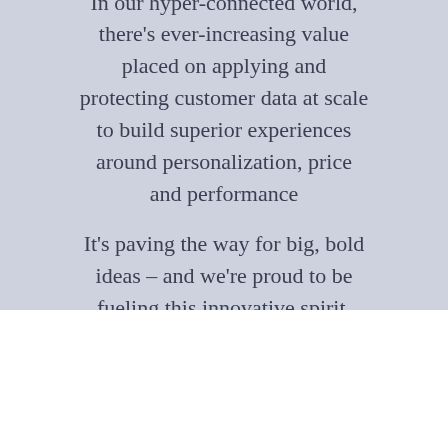In our hyper-connected world, there's ever-increasing value placed on applying and protecting customer data at scale to build superior experiences around personalization, price and performance
It's paving the way for big, bold ideas – and we're proud to be fueling this innovative spirit.
D...